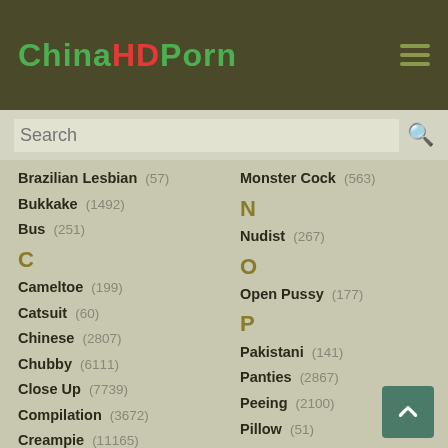ChinaHDPorn
Brazilian Lesbian (57)
Bukkake (1492)
Bus (251)
C
Cameltoe (199)
Catsuit (60)
Chinese (2807)
Chubby (6111)
Close Up (7739)
Compilation (3672)
Creampie (11165)
Cuckold (1507)
Cum Swapping (429)
Monster Cock (563)
N
Nudist (267)
O
Open Pussy (177)
P
Pakistani (141)
Panties (2867)
Peeing (2100)
Pillow (51)
Piss Drinking (138)
Pissing (1692)
Pregnant (639)